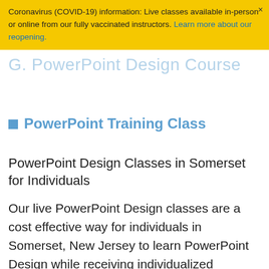Coronavirus (COVID-19) information: Live classes available in-person or online from our fully vaccinated instructors. Learn more about our reopening.
PowerPoint Design Course
PowerPoint Training Class
PowerPoint Design Classes in Somerset for Individuals
Our live PowerPoint Design classes are a cost effective way for individuals in Somerset, New Jersey to learn PowerPoint Design while receiving individualized attention. In these classes you see the instructors screen, hear their voice, and are able to ask questions. Course materials and a headset with microphone are provided with your enrollment